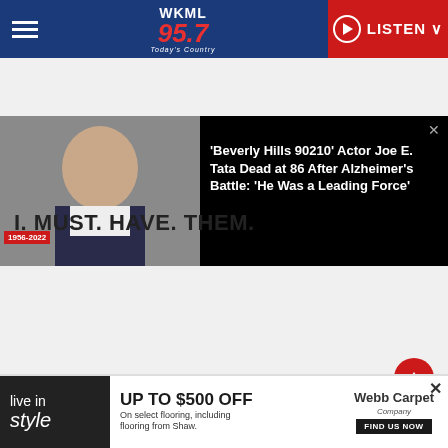WKML 95.7 Today's Country — LISTEN
[Figure (screenshot): Article preview with photo of Joe E. Tata (1956-2022) on the left and headline on the right on black background]
'Beverly Hills 90210' Actor Joe E. Tata Dead at 86 After Alzheimer's Battle: 'He Was a Leading Force'
I. MUST. HAVE. THEM.
[Figure (photo): Canady's Termite & Pest Control advertisement with logo and text 'RE BUGS UGGIN' YOU?' and woman peeking over surface]
[Figure (infographic): Webb Carpet Company banner ad: 'live in style UP TO $500 OFF On select flooring, including flooring from Shaw. FIND US NOW']